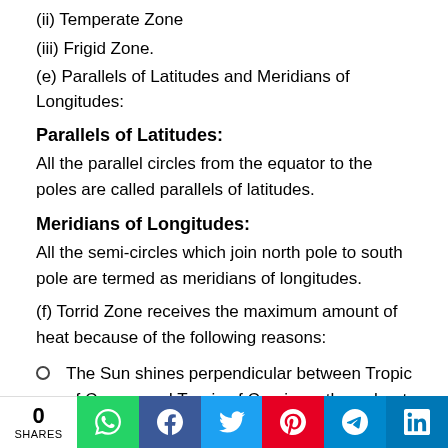(ii) Temperate Zone
(iii) Frigid Zone.
(e) Parallels of Latitudes and Meridians of Longitudes:
Parallels of Latitudes:
All the parallel circles from the equator to the poles are called parallels of latitudes.
Meridians of Longitudes:
All the semi-circles which join north pole to south pole are termed as meridians of longitudes.
(f) Torrid Zone receives the maximum amount of heat because of the following reasons:
The Sun shines perpendicular between Tropic of Cancer and Tropic of Capricorn throughout the year.
Perpendicular sun rays give more heat than slanting